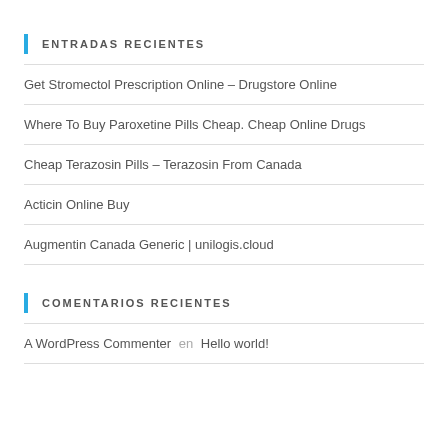ENTRADAS RECIENTES
Get Stromectol Prescription Online – Drugstore Online
Where To Buy Paroxetine Pills Cheap. Cheap Online Drugs
Cheap Terazosin Pills – Terazosin From Canada
Acticin Online Buy
Augmentin Canada Generic | unilogis.cloud
COMENTARIOS RECIENTES
A WordPress Commenter en Hello world!